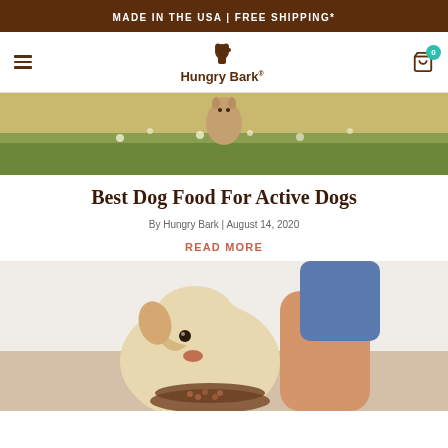MADE IN THE USA | FREE SHIPPING*
[Figure (logo): Hungry Bark logo with dog icon]
[Figure (photo): Dog in a field of daisies/flowers, outdoor nature scene]
Best Dog Food For Active Dogs
By Hungry Bark | August 14, 2020
READ MORE
[Figure (photo): Yellow Labrador puppy eating from a bowl, person's arm visible]